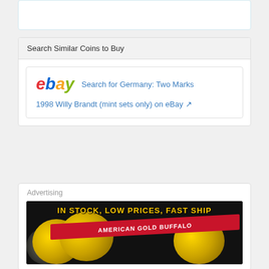Search Similar Coins to Buy
Search for Germany: Two Marks
1998 Willy Brandt (mint sets only) on eBay
Advertising
[Figure (illustration): Advertisement for American Gold Buffalo coins: 'In Stock, Low Prices, Fast Ship' with gold coins on dark background]